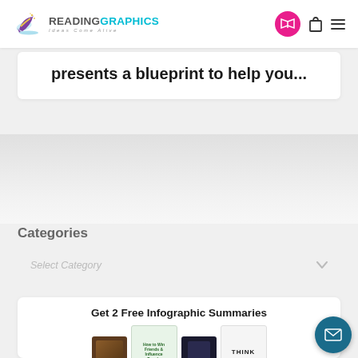READINGRAPHICS — Ideas Come Alive
presents a blueprint to help you...
Categories
Select Category
Get 2 Free Infographic Summaries
[Figure (screenshot): Book thumbnails including 'How to Win Friends' and 'THINK']